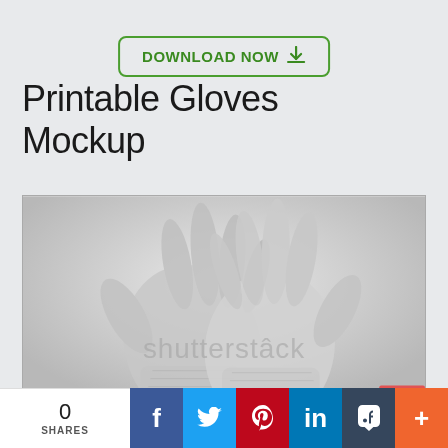[Figure (other): Green bordered download now button with download icon]
Printable Gloves Mockup
[Figure (photo): Black and white photo of two hands wearing white knit gloves, with Shutterstock watermark overlaid]
0
SHARES
f
t
P
in
t
+